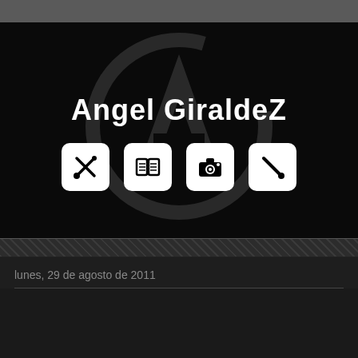[Figure (logo): Angel Giraldez blog header with large stylized A-G logo in background and four navigation icons below the name: brushes/tools, book, camera, and brush/stroke]
lunes, 29 de agosto de 2011